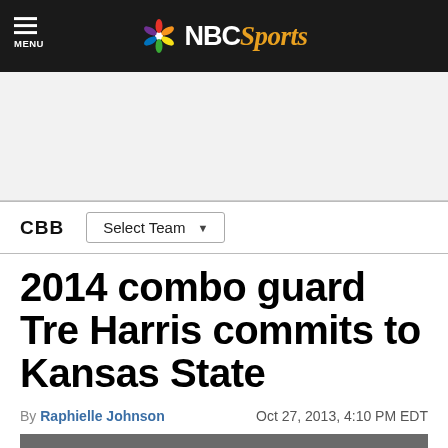NBC Sports
CBB   Select Team
2014 combo guard Tre Harris commits to Kansas State
By Raphielle Johnson   Oct 27, 2013, 4:10 PM EDT
[Figure (photo): Bottom portion of a photo showing people, partially visible]